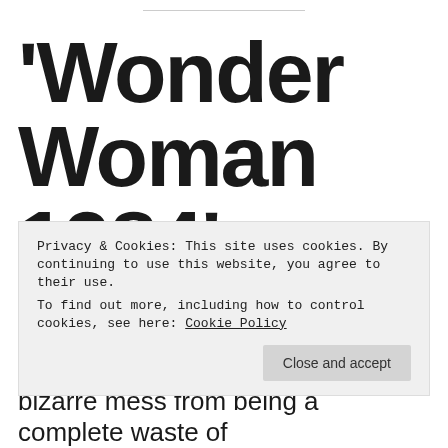'Wonder Woman 1984' Review
Privacy & Cookies: This site uses cookies. By continuing to use this website, you agree to their use.
To find out more, including how to control cookies, see here: Cookie Policy
bizarre mess from being a complete waste of